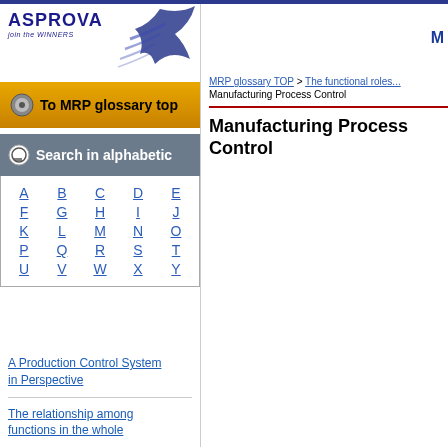[Figure (logo): Asprova logo with 'join the WINNERS' tagline and blue brush stroke graphic]
[Figure (infographic): Gold button labeled 'To MRP glossary top' with circular icon]
[Figure (infographic): Gray search bar labeled 'Search in alphabetic' with icon]
[Figure (infographic): Alphabetic navigation grid with letters A through Y as links]
MRP glossary TOP > The functional roles... Manufacturing Process Control
Manufacturing Process Control
A Production Control System in Perspective
The relationship among functions in the whole